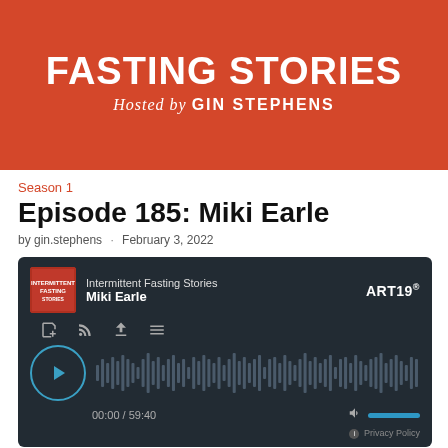[Figure (illustration): Podcast banner with orange/red background showing 'FASTING STORIES' in large bold white text and 'Hosted by GIN STEPHENS' below in white italic/bold text]
Season 1
Episode 185: Miki Earle
by gin.stephens · February 3, 2022
[Figure (screenshot): ART19 podcast audio player with dark background showing 'Intermittent Fasting Stories - Miki Earle' episode, play button, waveform visualization, time 00:00 / 59:40, and volume control]